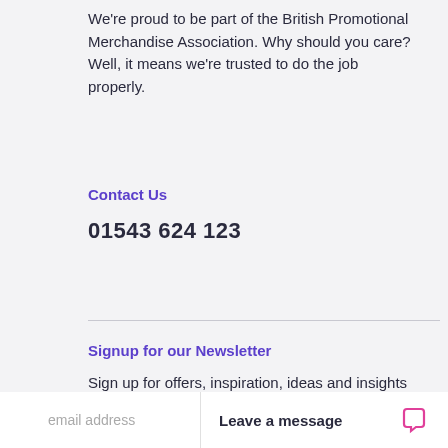We're proud to be part of the British Promotional Merchandise Association. Why should you care? Well, it means we're trusted to do the job properly.
Contact Us
01543 624 123
Signup for our Newsletter
Sign up for offers, inspiration, ideas and insights for your upcoming promotional marketing campaigns.
email address
Leave a message